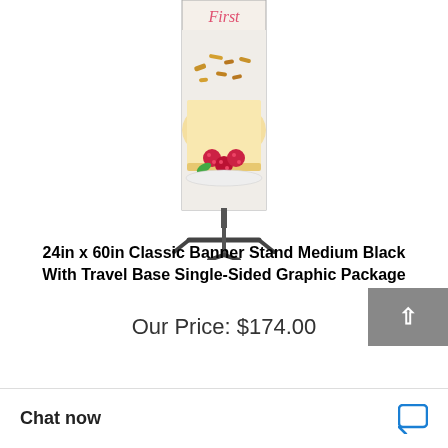[Figure (photo): A banner stand with a food-themed graphic showing cheesecake with raspberries and the word 'First' in script, displayed on a black cross-base stand.]
24in x 60in Classic Banner Stand Medium Black With Travel Base Single-Sided Graphic Package
Our Price: $174.00